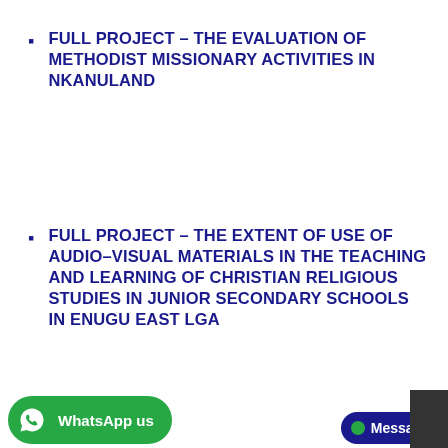FULL PROJECT – THE EVALUATION OF METHODIST MISSIONARY ACTIVITIES IN NKANULAND
FULL PROJECT – THE EXTENT OF USE OF AUDIO–VISUAL MATERIALS IN THE TEACHING AND LEARNING OF CHRISTIAN RELIGIOUS STUDIES IN JUNIOR SECONDARY SCHOOLS IN ENUGU EAST LGA
FULL PROJECT – THE EXTENT OF USE OF INSTRUCTIONAL MATERIALS FOR EFFECTIVE